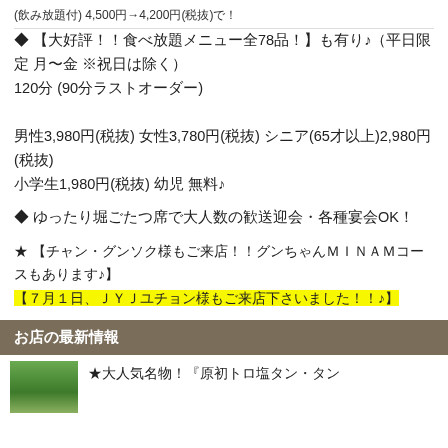(飲み放題付) 4,500円→4,200円(税抜)で！
◆ 【大好評！！食べ放題メニュー全78品！】も有り♪（平日限定 月〜金 ※祝日は除く）
120分 (90分ラストオーダー)

男性3,980円(税抜) 女性3,780円(税抜) シニア(65才以上)2,980円(税抜)
小学生1,980円(税抜) 幼児 無料♪
◆ ゆったり堀ごたつ席で大人数の歓送迎会・各種宴会OK！
★ 【チャン・グンソク様もご来店！！グンちゃんMINAMコースもあります♪】
【７月１日、ＪＹＪユチョン様もご来店下さいました！！♪】
お店の最新情報
★大人気名物！『原初トロ塩タン・タン